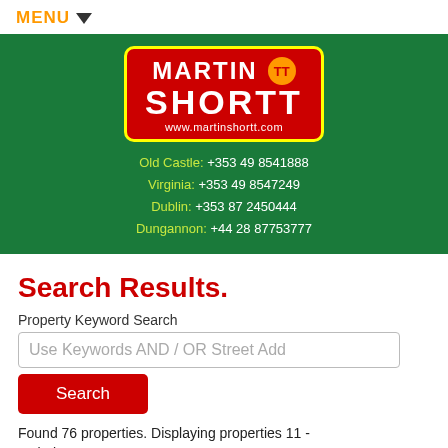MENU ▼
[Figure (logo): Martin Shortt real estate logo on green banner with contact details. Logo: red box with yellow border, MARTIN SHORTT text, TT circle badge, www.martinshortt.com. Contacts: Old Castle: +353 49 8541888, Virginia: +353 49 8547249, Dublin: +353 87 2450444, Dungannon: +44 28 87753777]
Search Results.
Property Keyword Search
Use Keywords AND / OR Street Add
Search
Found 76 properties. Displaying properties 11 - 20 below.